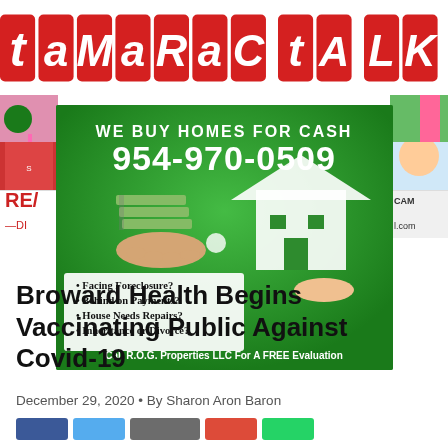[Figure (logo): Tamarac Talk logo with colorful block letters on red squares]
[Figure (infographic): We Buy Homes For Cash advertisement on green background. Phone number 954-970-0509. Shows hands exchanging cash and a house cutout. Bullet points: Facing Foreclosure? Behind on Payments? House Needs Repairs? Inheritance or Divorce? Call R.O.G. Properties LLC For A FREE Evaluation.]
Broward Health Begins Vaccinating Public Against Covid-19
December 29, 2020 • By Sharon Aron Baron